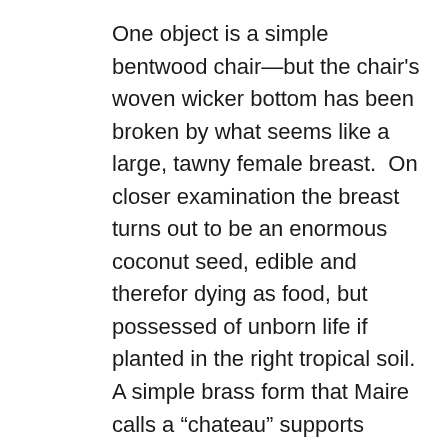One object is a simple bentwood chair—but the chair's woven wicker bottom has been broken by what seems like a large, tawny female breast.  On closer examination the breast turns out to be an enormous coconut seed, edible and therefor dying as food, but possessed of unborn life if planted in the right tropical soil. A simple brass form that Maire calls a “chateau” supports another sort of former “chateau” which is actually a large shiny oyster shell; the linkage of the two handsome objects asks us to reflect on the nature of past and present habitations, once alive, now museum objects.  A tropical insect becomes a glowing multi-colored glass lamp. Electrically generated “wind”